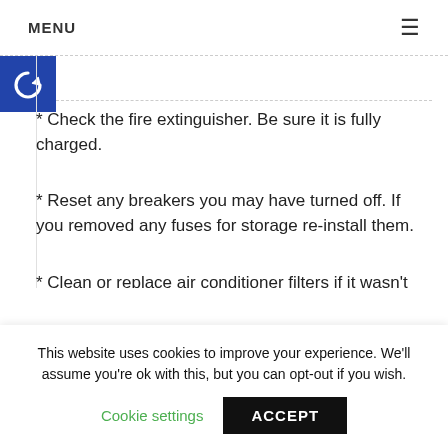MENU
[Figure (logo): Blue square icon with white circular arrow/refresh symbol]
* Check the fire extinguisher. Be sure it is fully charged.
* Reset any breakers you may have turned off. If you removed any fuses for storage re-install them.
* Clean or replace air conditioner filters if it wasn't done prior to storage and remove any covers that
This website uses cookies to improve your experience. We'll assume you're ok with this, but you can opt-out if you wish.
Cookie settings   ACCEPT